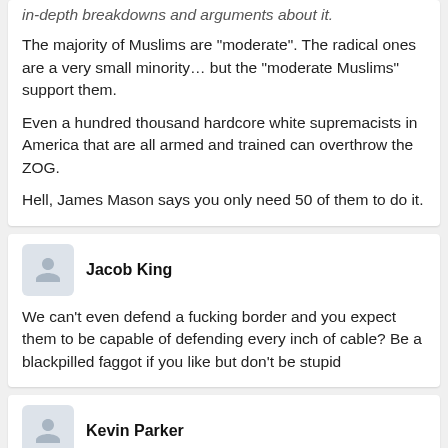in-depth breakdowns and arguments about it.
The majority of Muslims are "moderate". The radical ones are a very small minority… but the "moderate Muslims" support them.
Even a hundred thousand hardcore white supremacists in America that are all armed and trained can overthrow the ZOG.
Hell, James Mason says you only need 50 of them to do it.
Jacob King
We can't even defend a fucking border and you expect them to be capable of defending every inch of cable? Be a blackpilled faggot if you like but don't be stupid
Kevin Parker
You also want to fuck an Asian shishka too, right, Chaim?